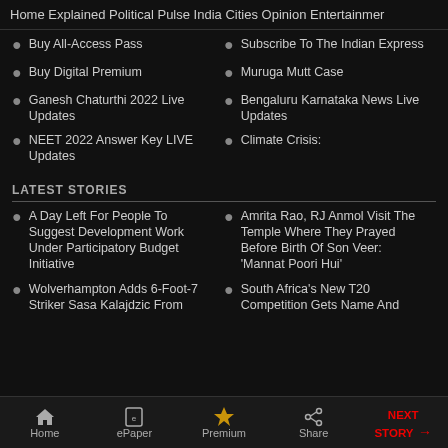Home   Explained   Political Pulse   India   Cities   Opinion   Entertainmer
Buy All-Access Pass
Subscribe To The Indian Express
Buy Digital Premium
Muruga Mutt Case
Ganesh Chaturthi 2022 Live Updates
Bengaluru Karnataka News Live Updates
NEET 2022 Answer Key LIVE Updates
Climate Crisis:
LATEST STORIES
A Day Left For People To Suggest Development Work Under Participatory Budget Initiative
Amrita Rao, RJ Anmol Visit The Temple Where They Prayed Before Birth Of Son Veer: 'Mannat Poori Hui'
Wolverhampton Adds 6-Foot-7 Striker Sasa Kalajdzic From
South Africa's New T20 Competition Gets Name And
Home   ePaper   Premium   Share   NEXT STORY →